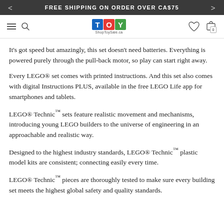FREE SHIPPING ON ORDER OVER CA$75
[Figure (logo): ShopToySale.ca logo with coloured TOY letter tiles]
It's got speed but amazingly, this set doesn't need batteries. Everything is powered purely through the pull-back motor, so play can start right away.
Every LEGO® set comes with printed instructions. And this set also comes with digital Instructions PLUS, available in the free LEGO Life app for smartphones and tablets.
LEGO® Technic™ sets feature realistic movement and mechanisms, introducing young LEGO builders to the universe of engineering in an approachable and realistic way.
Designed to the highest industry standards, LEGO® Technic™ plastic model kits are consistent; connecting easily every time.
LEGO® Technic™ pieces are thoroughly tested to make sure every building set meets the highest global safety and quality standards.